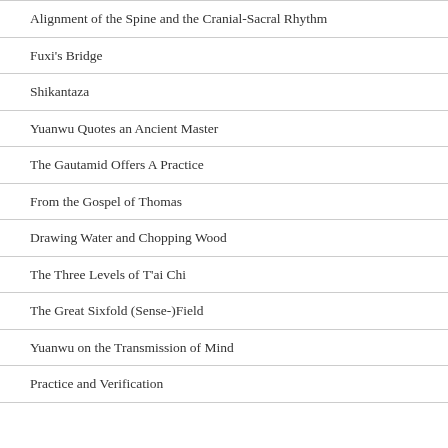Alignment of the Spine and the Cranial-Sacral Rhythm
Fuxi's Bridge
Shikantaza
Yuanwu Quotes an Ancient Master
The Gautamid Offers A Practice
From the Gospel of Thomas
Drawing Water and Chopping Wood
The Three Levels of T'ai Chi
The Great Sixfold (Sense-)Field
Yuanwu on the Transmission of Mind
Practice and Verification